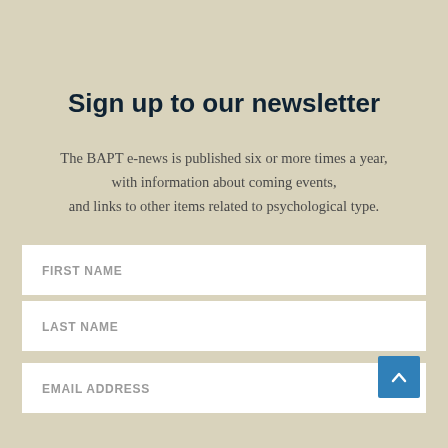Sign up to our newsletter
The BAPT e-news is published six or more times a year, with information about coming events, and links to other items related to psychological type.
FIRST NAME
LAST NAME
EMAIL ADDRESS